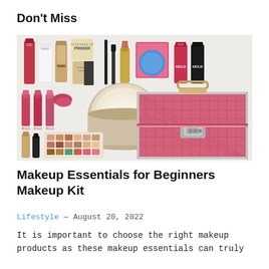Don't Miss
[Figure (photo): A collage of makeup products including lipsticks, foundations, primer, eyeliners, lip gloss, compact powder, eyeshadow palette, nail polishes, a blue sponge puff, and a pink quilted makeup storage case/kit box with silver clasps and handle.]
Makeup Essentials for Beginners Makeup Kit
Lifestyle — August 20, 2022
It is important to choose the right makeup products as these makeup essentials can truly